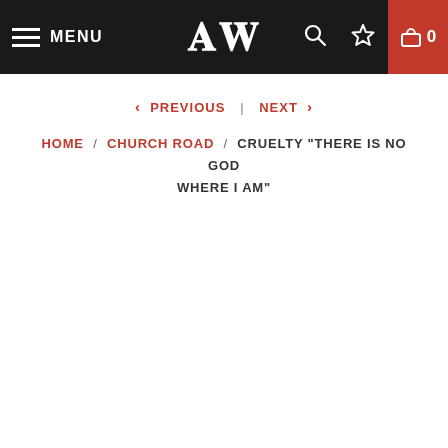MENU | AW logo | search | wishlist | cart 0
< PREVIOUS | NEXT >
HOME / CHURCH ROAD / CRUELTY "THERE IS NO GOD WHERE I AM"